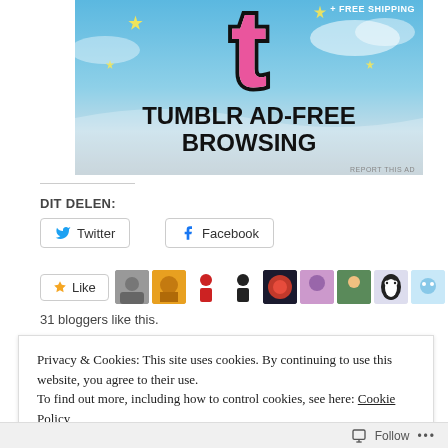[Figure (screenshot): Tumblr ad banner showing the Tumblr 't' logo in pink with sparkles on a blue sky background and the text 'TUMBLR AD-FREE BROWSING'. Also shows '+ FREE SHIPPING' in top right and 'REPORT THIS AD' in bottom right.]
DIT DELEN:
[Figure (screenshot): Twitter share button with Twitter bird icon]
[Figure (screenshot): Facebook share button with Facebook logo]
[Figure (screenshot): Like button with star icon followed by a strip of 9 blogger avatar thumbnails]
31 bloggers like this.
Privacy & Cookies: This site uses cookies. By continuing to use this website, you agree to their use.
To find out more, including how to control cookies, see here: Cookie Policy
Close and accept